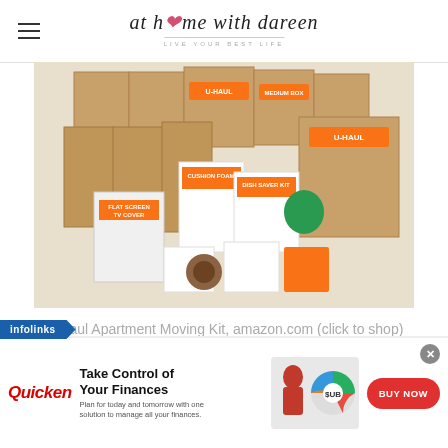at home with dareen — LIVE YOUR BEST LIFE
[Figure (photo): U-Haul Apartment Moving Kit showing cardboard moving boxes and packing supplies including cushion foam, dish saver kit, flat screen TV cover, and other U-Haul branded products]
U-Haul Apartment Moving Kit, amazon.com (click to shop)
[Figure (photo): Moving labels with room categories: MASTER BED RM, MASTER BATH, DINING ROOM, STORAGE]
[Figure (infographic): Infolinks ad banner: Quicken - Take Control of Your Finances. Plan for today and tomorrow with one solution to manage all your finances. BUY NOW button.]